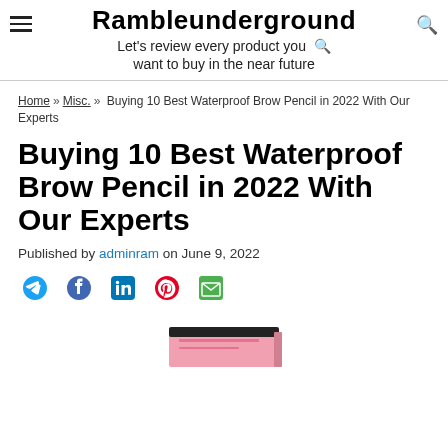Rambleunderground — Let's review every product you want to buy in the near future
Home » Misc. » Buying 10 Best Waterproof Brow Pencil in 2022 With Our Experts
Buying 10 Best Waterproof Brow Pencil in 2022 With Our Experts
Published by adminram on June 9, 2022
[Figure (illustration): Social share icons: Twitter, Facebook, LinkedIn, Pinterest, Email]
[Figure (photo): Product image of waterproof brow pencil, partially visible at bottom of page]